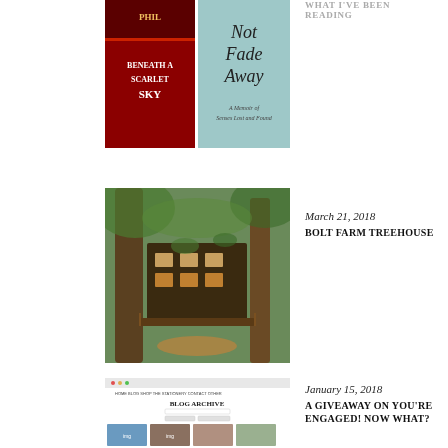WHAT I'VE BEEN READING
[Figure (photo): Two book covers side by side: 'Beneath a Scarlet Sky' on the left (red cover) and 'Not Fade Away' on the right (light blue/teal cover)]
[Figure (photo): Photograph of a treehouse structure among tall trees in a forest setting, with wooden decks and warm lighting]
March 21, 2018
BOLT FARM TREEHOUSE
[Figure (screenshot): Screenshot of a blog archive webpage showing 'BLOG ARCHIVE' heading with a search box and thumbnail images below]
January 15, 2018
A GIVEAWAY ON YOU'RE ENGAGED! NOW WHAT?